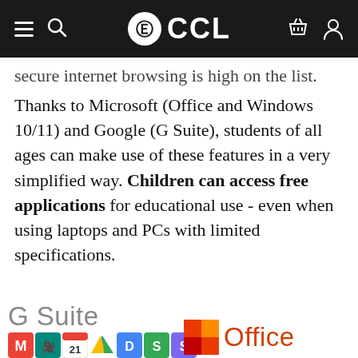CCL
secure internet browsing is high on the list. Thanks to Microsoft (Office and Windows 10/11) and Google (G Suite), students of all ages can make use of these features in a very simplified way. Children can access free applications for educational use - even when using laptops and PCs with limited specifications.
[Figure (logo): G Suite logo with coloured app icons (Gmail, Meet, Calendar, Drive, Docs, Sheets, Slides) and Microsoft Office logo with coloured square icon]